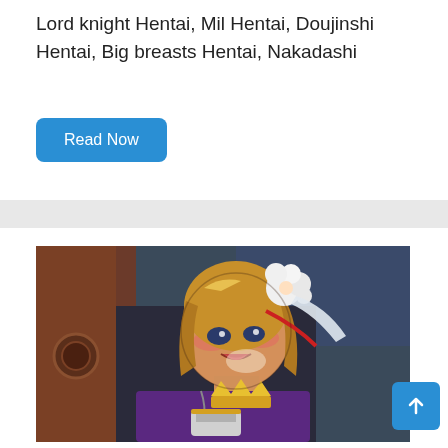Lord knight Hentai, Mil Hentai, Doujinshi Hentai, Big breasts Hentai, Nakadashi
Read Now
[Figure (illustration): Anime/manga style illustration of a female character with blonde hair and white flower accessories, wearing dark purple armor, with flushed cheeks and open mouth, leaning against dark background with brown leather armor elements visible.]